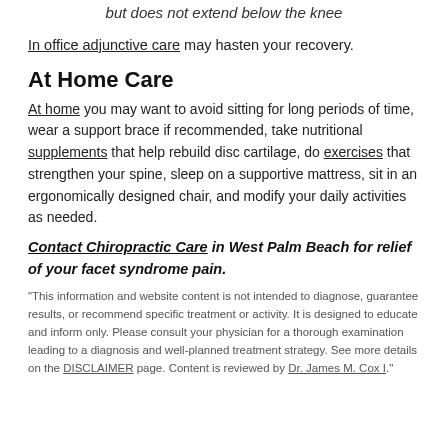but does not extend below the knee
In office adjunctive care may hasten your recovery.
At Home Care
At home you may want to avoid sitting for long periods of time, wear a support brace if recommended, take nutritional supplements that help rebuild disc cartilage, do exercises that strengthen your spine, sleep on a supportive mattress, sit in an ergonomically designed chair, and modify your daily activities as needed.
Contact Chiropractic Care in West Palm Beach for relief of your facet syndrome pain.
"This information and website content is not intended to diagnose, guarantee results, or recommend specific treatment or activity. It is designed to educate and inform only. Please consult your physician for a thorough examination leading to a diagnosis and well-planned treatment strategy. See more details on the DISCLAIMER page. Content is reviewed by Dr. James M. Cox I."